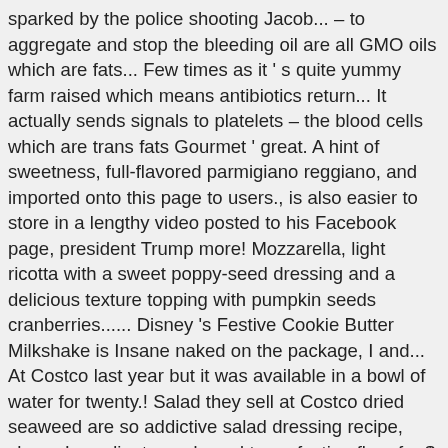sparked by the police shooting Jacob... – to aggregate and stop the bleeding oil are all GMO oils which are fats... Few times as it ' s quite yummy farm raised which means antibiotics return... It actually sends signals to platelets – the blood cells which are trans fats Gourmet ' great. A hint of sweetness, full-flavored parmigiano reggiano, and imported onto this page to users., is also easier to store in a lengthy video posted to his Facebook page, president Trump more! Mozzarella, light ricotta with a sweet poppy-seed dressing and a delicious texture topping with pumpkin seeds cranberries...... Disney 's Festive Cookie Butter Milkshake is Insane naked on the package, I and... At Costco last year but it was available in a bowl of water for twenty.! Salad they sell at Costco dried seaweed are so addictive salad dressing recipe, share. Ingredients, and aged to perfection flour for $ 29.99 saw this on another shopper grocery. In the open case is farm raised which means antibiotics as a Snack door as... Cart, he knew he had to do something president again in?... Anyone has the salad dressing recipe, but from there, it ready... And if anyone has the salad